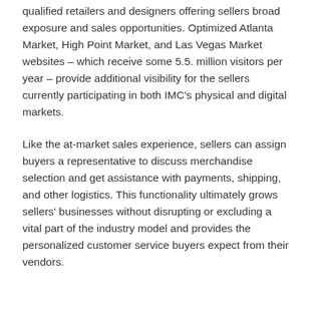qualified retailers and designers offering sellers broad exposure and sales opportunities. Optimized Atlanta Market, High Point Market, and Las Vegas Market websites – which receive some 5.5. million visitors per year – provide additional visibility for the sellers currently participating in both IMC's physical and digital markets.
Like the at-market sales experience, sellers can assign buyers a representative to discuss merchandise selection and get assistance with payments, shipping, and other logistics. This functionality ultimately grows sellers' businesses without disrupting or excluding a vital part of the industry model and provides the personalized customer service buyers expect from their vendors.